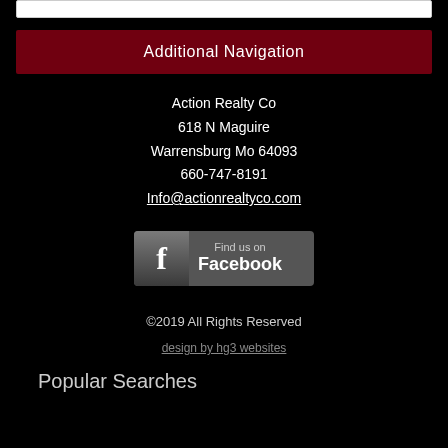Additional Navigation
Action Realty Co
618 N Maguire
Warrensburg Mo 64093
660-747-8191
Info@actionrealtyco.com
[Figure (logo): Find us on Facebook badge with Facebook 'f' icon on grey background]
©2019 All Rights Reserved
design by hg3 websites
Popular Searches